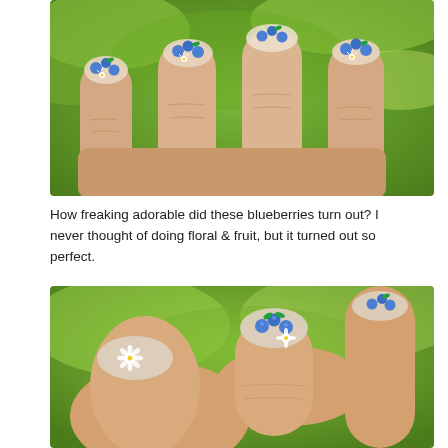[Figure (photo): Close-up photo of a hand with nails painted with blueberry and daisy floral nail art on a nude/clear base, with green foliage background.]
How freaking adorable did these blueberries turn out? I never thought of doing floral & fruit, but it turned out so perfect.
[Figure (photo): Close-up photo of fingers with blueberry and white daisy nail art on a nude base, showing detail of the nail design, with green blurred background.]